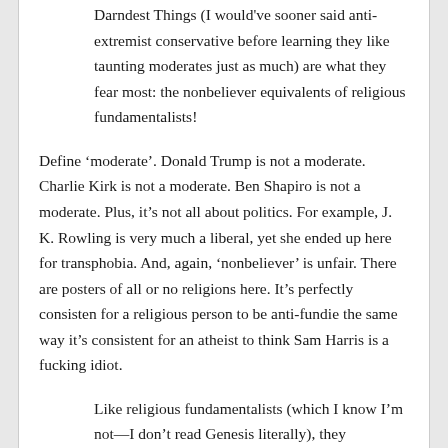Darndest Things (I would've sooner said anti-extremist conservative before learning they like taunting moderates just as much) are what they fear most: the nonbeliever equivalents of religious fundamentalists!
Define 'moderate'. Donald Trump is not a moderate. Charlie Kirk is not a moderate. Ben Shapiro is not a moderate. Plus, it's not all about politics. For example, J. K. Rowling is very much a liberal, yet she ended up here for transphobia. And, again, 'nonbeliever' is unfair. There are posters of all or no religions here. It's perfectly consisten for a religious person to be anti-fundie the same way it's consistent for an atheist to think Sam Harris is a fucking idiot.
Like religious fundamentalists (which I know I'm not—I don't read Genesis literally), they